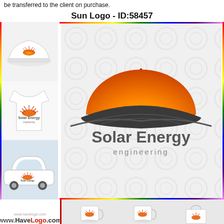be transferred to the client on purchase.
Sun Logo - ID:58457
[Figure (logo): Solar Energy engineering sun logo with orange semicircle and red rays, shown on mockups (hat, t-shirt, car) and as main logo on patterned background]
www.HaveLogo.com